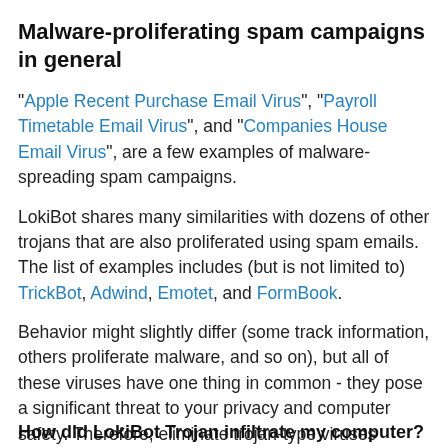Malware-proliferating spam campaigns in general
"Apple Recent Purchase Email Virus", "Payroll Timetable Email Virus", and "Companies House Email Virus", are a few examples of malware-spreading spam campaigns.
LokiBot shares many similarities with dozens of other trojans that are also proliferated using spam emails. The list of examples includes (but is not limited to) TrickBot, Adwind, Emotet, and FormBook.
Behavior might slightly differ (some track information, others proliferate malware, and so on), but all of these viruses have one thing in common - they pose a significant threat to your privacy and computer safety. Therefore, eliminate trojan-type viruses immediately.
How did LokiBot Trojan infiltrate my computer?